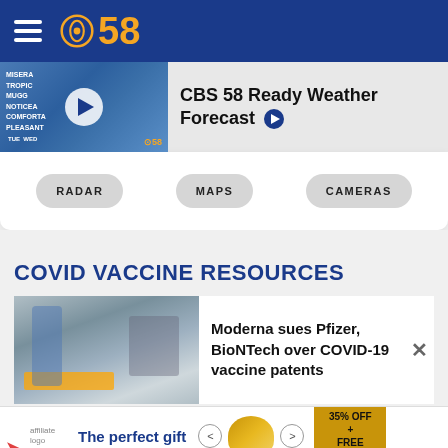CBS 58 logo header with hamburger menu
[Figure (screenshot): CBS 58 Ready Weather Forecast video thumbnail with play button]
CBS 58 Ready Weather Forecast
RADAR
MAPS
CAMERAS
COVID VACCINE RESOURCES
[Figure (photo): Photo of pharmaceutical/vaccine manufacturing equipment]
Moderna sues Pfizer, BioNTech over COVID-19 vaccine patents
[Figure (screenshot): Advertisement banner: The perfect gift, 35% OFF + FREE SHIPPING]